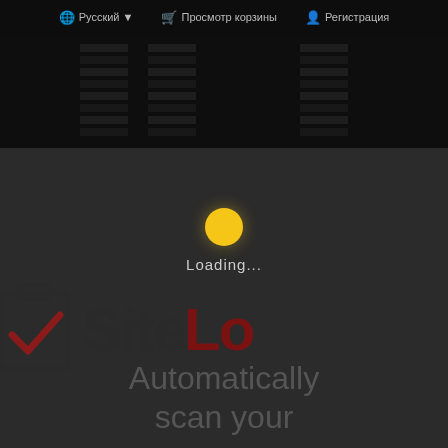🌐 Русский ▼   🛒 Просмотр корзины   👤 Регистрация
[Figure (screenshot): Website screenshot showing a dark-themed hosting/cloud service page with navigation bar containing language selector (Русский), cart (Просмотр корзины), and registration (Регистрация) links, a logo reading 'cloud' with a red icon, hamburger menu, server rack background images, and a loading spinner (yellow circle) with 'Loading...' text, partially visible SiteLock logo and tagline 'Automatically scan your']